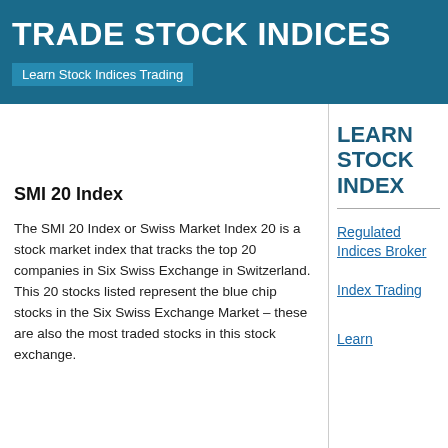TRADE STOCK INDICES
Learn Stock Indices Trading
SMI 20 Index
The SMI 20 Index or Swiss Market Index 20 is a stock market index that tracks the top 20 companies in Six Swiss Exchange in Switzerland. This 20 stocks listed represent the blue chip stocks in the Six Swiss Exchange Market – these are also the most traded stocks in this stock exchange.
LEARN STOCK INDEX
Regulated Indices Broker
Index Trading
Learn